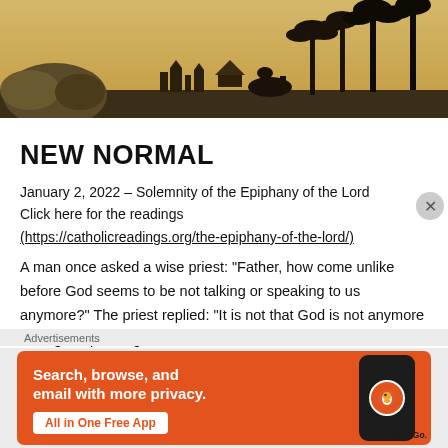[Figure (illustration): Illustrated silhouette scene showing biblical nativity-style landscape with rocks, desert terrain, palm trees, camels and figures in black silhouette against a warm golden/orange sky background]
NEW NORMAL
January 2, 2022 – Solemnity of the Epiphany of the Lord
Click here for the readings
(https://catholicreadings.org/the-epiphany-of-the-lord/)
A man once asked a wise priest: “Father, how come unlike before God seems to be not talking or speaking to us anymore?” The priest replied: “It is not that God is not anymore talking or speaking to
Advertisements
[Figure (screenshot): DuckDuckGo advertisement banner with orange background. Text reads: 'Search, browse, and email with more privacy. All in One Free App' with a smartphone showing DuckDuckGo logo]